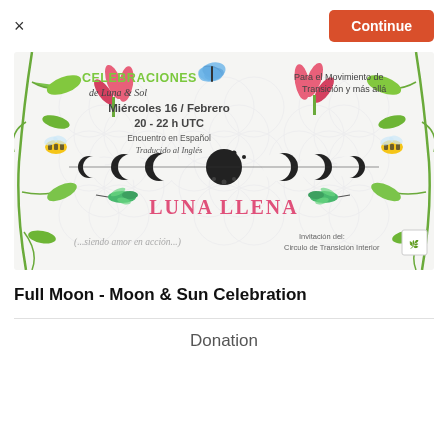× Continue
[Figure (illustration): Event flyer for Luna Llena - CELEBRACIONES de Luna & Sol. White background with floral design (flower of life pattern), pink flowers, green leaves, bees, butterflies, hummingbirds. Text: CELEBRACIONES de Luna & Sol, Para el Movimiento de Transición y más allá, Miércoles 16 / Febrero, 20 - 22 h UTC, Encuentro en Español, Traducido al Inglés, moon phase icons, LUNA LLENA, ...siendo amor en acción, Invitación del: Circulo de Transición Interior]
Full Moon - Moon & Sun Celebration
Donation